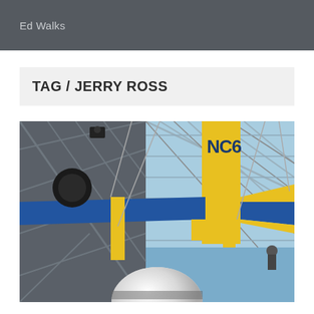Ed Walks
TAG / JERRY ROSS
[Figure (photo): Looking up at a yellow and blue vintage airplane (registration NC6...) suspended from the ceiling of a large museum with a glass and steel lattice roof structure. The underside and wings of the biplane are visible from below against the bright glass ceiling.]